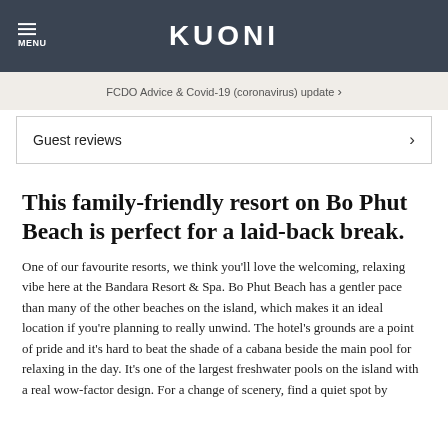MENU | KUONI
FCDO Advice & Covid-19 (coronavirus) update ›
Guest reviews ›
This family-friendly resort on Bo Phut Beach is perfect for a laid-back break.
One of our favourite resorts, we think you'll love the welcoming, relaxing vibe here at the Bandara Resort & Spa. Bo Phut Beach has a gentler pace than many of the other beaches on the island, which makes it an ideal location if you're planning to really unwind. The hotel's grounds are a point of pride and it's hard to beat the shade of a cabana beside the main pool for relaxing in the day. It's one of the largest freshwater pools on the island with a real wow-factor design. For a change of scenery, find a quiet spot by